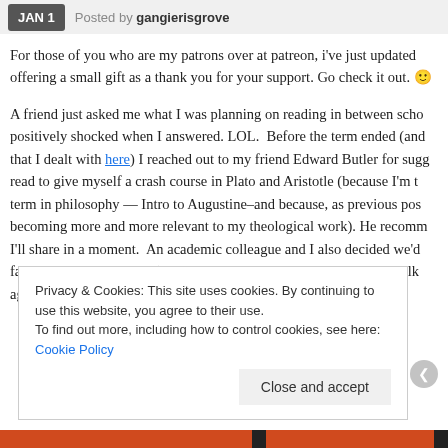JAN 1  Posted by gangierisgrove
For those of you who are my patrons over at patreon, i've just updated offering a small gift as a thank you for your support. Go check it out. 🙂
A friend just asked me what I was planning on reading in between scho positively shocked when I answered. LOL.  Before the term ended (and that I dealt with here) I reached out to my friend Edward Butler for sugg read to give myself a crash course in Plato and Aristotle (because I'm t term in philosophy — Intro to Augustine–and because, as previous pos becoming more and more relevant to my theological work). He recomm I'll share in a moment.  An academic colleague and I also decided we'd favorite Euripidean play (mine is the Bacchae, his was Medea and talk again) so I'll be doing that too.
Privacy & Cookies: This site uses cookies. By continuing to use this website, you agree to their use.
To find out more, including how to control cookies, see here: Cookie Policy
Close and accept